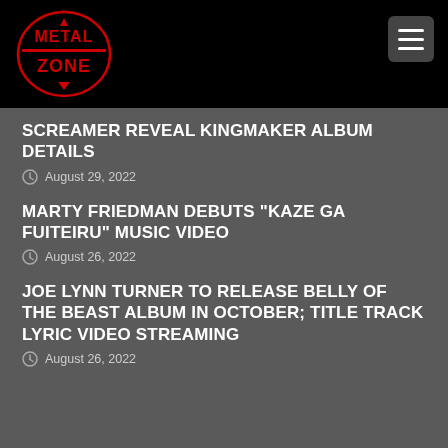[Figure (logo): Metal Zone website logo in red metallic text on black background]
SCREAMER REVEAL KINGMAKER ALBUM DETAILS
August 29, 2022
MARTY FRIEDMAN DEBUTS "KAZE GA FUITEIRU" MUSIC VIDEO
August 26, 2022
JOE LYNN TURNER TO RELEASE BELLY OF THE BEAST ALBUM IN OCTOBER; TITLE TRACK LYRIC VIDEO STREAMING
August 26, 2022